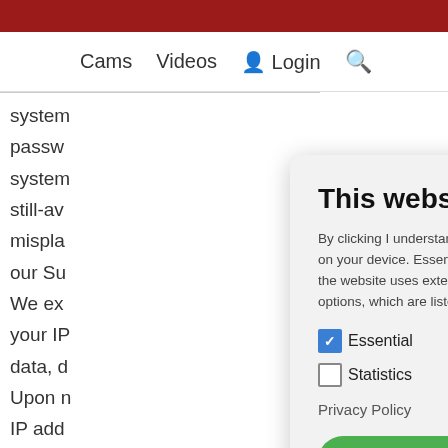Cams  Videos  Login
system passw system still-av mispla our Su We ex your IP data, d Upon n IP add author your id With p note that your credit institution is not
This website uses cookies
By clicking I understand, you give this website permission to store information in the form of cookies on your device. Essential cookies are required for the technical provision of the service. In addition, the website uses external services for user counting and for providing payment services and login options, which are listed in the data protection information linked below.
Essential (checked)
Marketing (unchecked)
Statistics (unchecked)
External Media (unchecked)
Privacy Policy